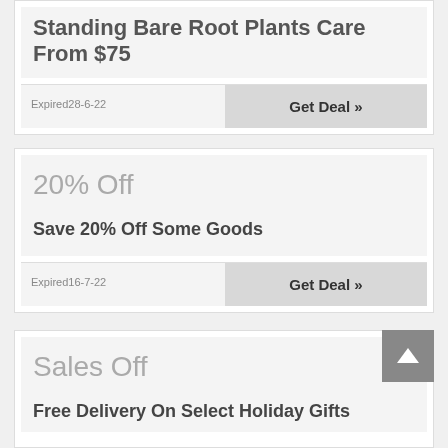Standing Bare Root Plants Care From $75
Expired28-6-22
Get Deal »
20% Off
Save 20% Off Some Goods
Expired16-7-22
Get Deal »
Sales Off
Free Delivery On Select Holiday Gifts